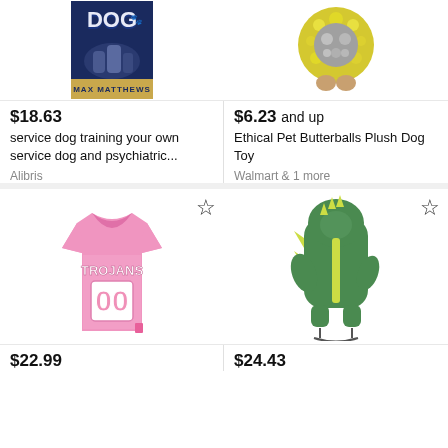[Figure (photo): Book cover: 'Dog' by Max Matthews, showing dogs on a blue/navy background with a gold bar at the bottom showing 'MAX MATTHEWS']
[Figure (photo): Ethical Pet Butterballs plush dog toy, yellow and gray fluffy round ball shape]
$18.63
service dog training your own service dog and psychiatric...
Alibris
$6.23 and up
Ethical Pet Butterballs Plush Dog Toy
Walmart & 1 more
[Figure (photo): Pink Trojans #00 dog jersey/football shirt]
[Figure (photo): Green dinosaur dog costume with yellow spikes and hood]
$22.99
$24.43